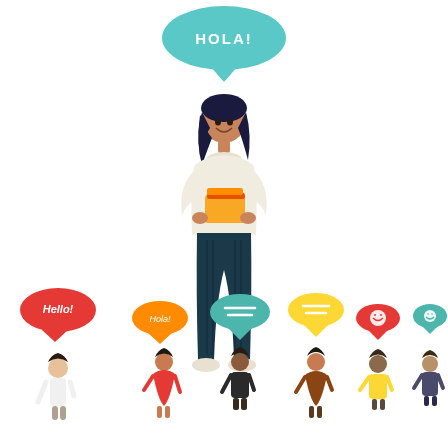[Figure (illustration): Flat vector illustration of a woman with dark hair holding books, with a teal speech bubble above her saying 'HOLA!'. Below her are six smaller figures of diverse people, each with their own colored speech bubbles: a red bubble saying 'Hello!', an orange bubble saying 'Hola!', a teal bubble with horizontal lines, a yellow bubble with horizontal lines, a red bubble with a smiley, and a teal bubble with a smiley.]